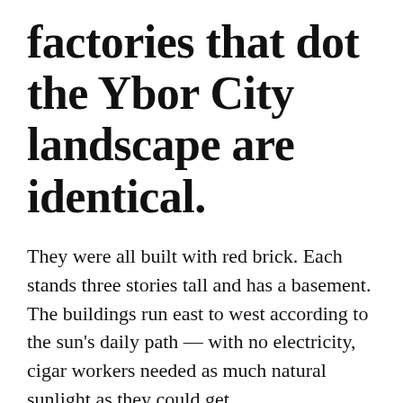factories that dot the Ybor City landscape are identical.
They were all built with red brick. Each stands three stories tall and has a basement. The buildings run east to west according to the sun’s daily path — with no electricity, cigar workers needed as much natural sunlight as they could get.
But look a little closer, and you’ll notice one major difference. The factories are no longer functioning.